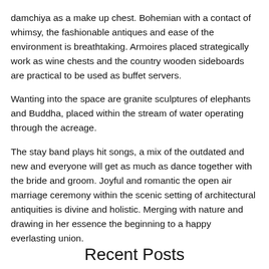damchiya as a make up chest. Bohemian with a contact of whimsy, the fashionable antiques and ease of the environment is breathtaking. Armoires placed strategically work as wine chests and the country wooden sideboards are practical to be used as buffet servers.
Wanting into the space are granite sculptures of elephants and Buddha, placed within the stream of water operating through the acreage.
The stay band plays hit songs, a mix of the outdated and new and everyone will get as much as dance together with the bride and groom. Joyful and romantic the open air marriage ceremony within the scenic setting of architectural antiquities is divine and holistic. Merging with nature and drawing in her essence the beginning to a happy everlasting union.
Recent Posts